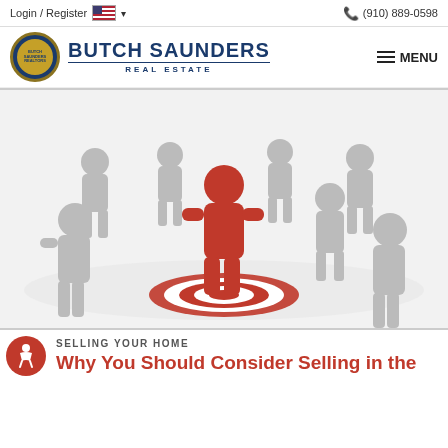Login / Register  🇺🇸 ▾  (910) 889-0598
[Figure (logo): Butch Saunders Real Estate logo with circular badge and brand name]
[Figure (photo): 3D illustration of a red figure standing on a bullseye target surrounded by grey figures representing being chosen or targeted]
SELLING YOUR HOME
Why You Should Consider Selling in the